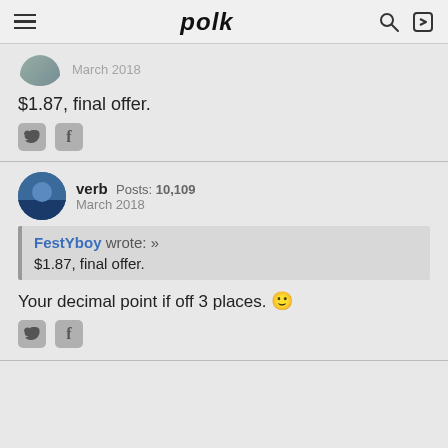polk
March 2018
$1.87, final offer.
verb  Posts: 10,109
March 2018
FestYboy wrote: »
$1.87, final offer.
Your decimal point if off 3 places. 🙂